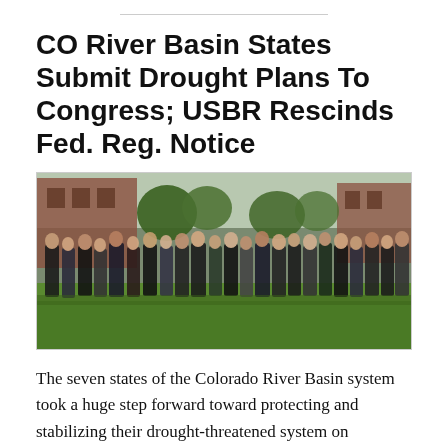CO River Basin States Submit Drought Plans To Congress; USBR Rescinds Fed. Reg. Notice
[Figure (photo): Group photo of approximately 30 people standing outdoors on grass in front of a brick building with trees in the background.]
The seven states of the Colorado River Basin system took a huge step forward toward protecting and stabilizing their drought-threatened system on Tuesday, March 19, signing letters to...